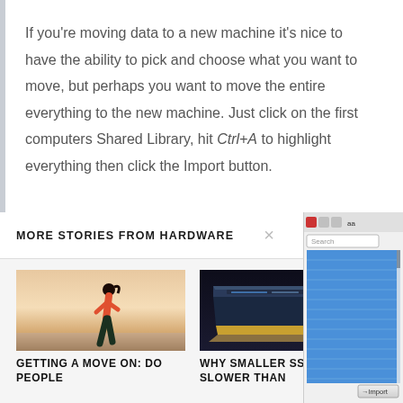If you're moving data to a new machine it's nice to have the ability to pick and choose what you want to move, but perhaps you want to move the entire everything to the new machine. Just click on the first computers Shared Library, hit Ctrl+A to highlight everything then click the Import button.
MORE STORIES FROM HARDWARE
[Figure (photo): Photo of a woman running outdoors in athletic wear]
GETTING A MOVE ON: DO PEOPLE
[Figure (photo): Photo of an SSD drive on dark background]
WHY SMALLER SSDS ARE SLOWER THAN
[Figure (screenshot): Screenshot of a computer application sidebar with Import button]